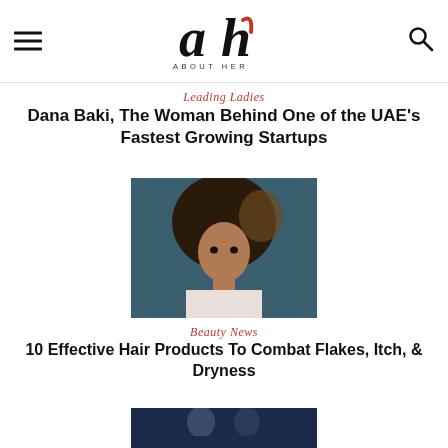About Her — logo, hamburger menu, search icon
Leading Ladies
Dana Baki, The Woman Behind One of the UAE's Fastest Growing Startups
[Figure (photo): Portrait of a young woman with large curly hair, looking at camera, dark teal background]
Beauty News
10 Effective Hair Products To Combat Flakes, Itch, & Dryness
[Figure (photo): Partial image of two people, appears to be a blue-tinted nighttime setting]